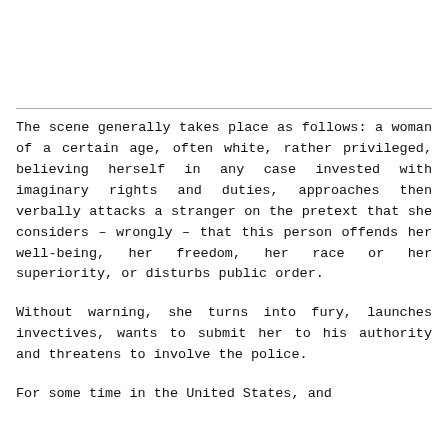The scene generally takes place as follows: a woman of a certain age, often white, rather privileged, believing herself in any case invested with imaginary rights and duties, approaches then verbally attacks a stranger on the pretext that she considers – wrongly – that this person offends her well-being, her freedom, her race or her superiority, or disturbs public order.
Without warning, she turns into fury, launches invectives, wants to submit her to his authority and threatens to involve the police.
For some time in the United States, and